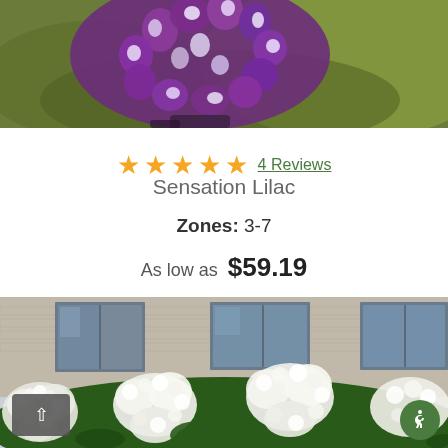[Figure (photo): Close-up photo of purple and white Sensation Lilac flowers with green blurred background]
★★★★★ 4 Reviews
Sensation Lilac
Zones: 3-7
As low as $59.19
[Figure (photo): Photo of white hydrangea bushes planted along a building exterior with brick walls and windows]